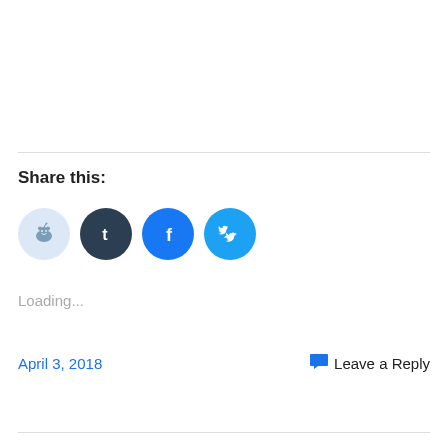Share this:
[Figure (illustration): Four social media share icon buttons: Reddit (light blue circle), Tumblr (dark navy circle), Facebook (blue circle), Twitter (cyan blue circle)]
Loading...
April 3, 2018
Leave a Reply